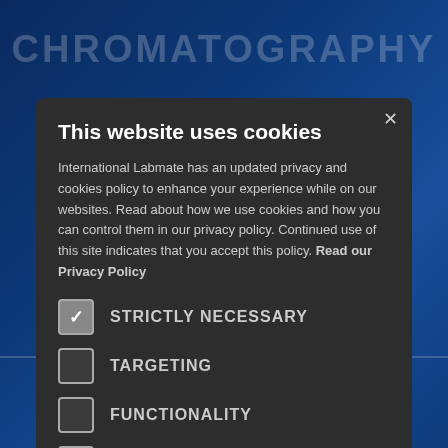CHROMATOGRAPHY
This website uses cookies
International Labmate has an updated privacy and cookies policy to enhance your experience while on our websites. Read about how we use cookies and how you can control them in our privacy policy. Continued use of this site indicates that you accept this policy. Read our Privacy Policy
STRICTLY NECESSARY
TARGETING
FUNCTIONALITY
UNCLASSIFIED
I AGREE
DECLINE ALL
SHOW DETAILS